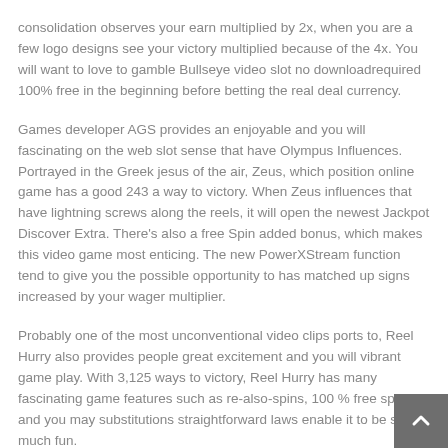consolidation observes your earn multiplied by 2x, when you are a few logo designs see your victory multiplied because of the 4x. You will want to love to gamble Bullseye video slot no downloadrequired 100% free in the beginning before betting the real deal currency.
Games developer AGS provides an enjoyable and you will fascinating on the web slot sense that have Olympus Influences. Portrayed in the Greek jesus of the air, Zeus, which position online game has a good 243 a way to victory. When Zeus influences that have lightning screws along the reels, it will open the newest Jackpot Discover Extra. There's also a free Spin added bonus, which makes this video game most enticing. The new PowerXStream function tend to give you the possible opportunity to has matched up signs increased by your wager multiplier.
Probably one of the most unconventional video clips ports to, Reel Hurry also provides people great excitement and you will vibrant game play. With 3,125 ways to victory, Reel Hurry has many fascinating game features such as re-also-spins, 100 % free spins, and you may substitutions straightforward laws enable it to be so much fun.